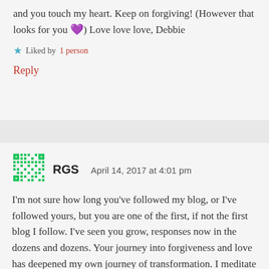and you touch my heart. Keep on forgiving! (However that looks for you 💜) Love love love, Debbie
★ Liked by 1 person
Reply
RGS   April 14, 2017 at 4:01 pm
I'm not sure how long you've followed my blog, or I've followed yours, but you are one of the first, if not the first blog I follow. I've seen you grow, responses now in the dozens and dozens. Your journey into forgiveness and love has deepened my own journey of transformation. I meditate on forgiveness every day.